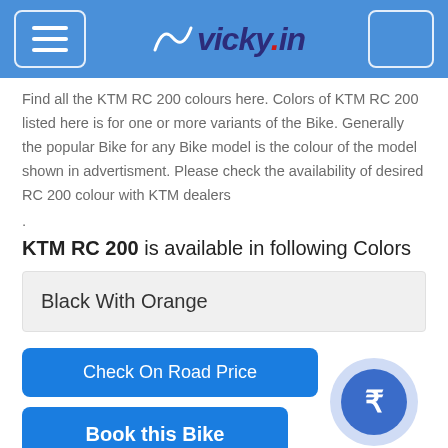vicky.in
Find all the KTM RC 200 colours here. Colors of KTM RC 200 listed here is for one or more variants of the Bike. Generally the popular Bike for any Bike model is the colour of the model shown in advertisment. Please check the availability of desired RC 200 colour with KTM dealers
.
KTM RC 200 is available in following Colors
| Black With Orange |
Check On Road Price
Book this Bike
KTM RC 200 Colours